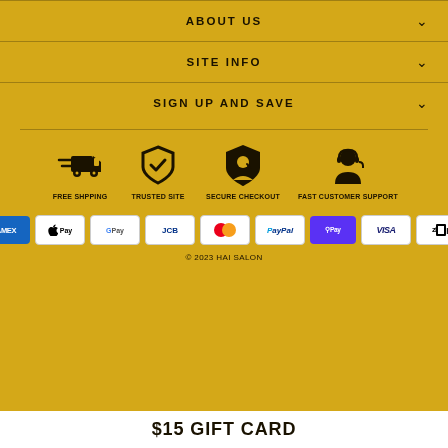ABOUT US
SITE INFO
SIGN UP AND SAVE
[Figure (infographic): Four trust icons: Free Shipping (delivery truck), Trusted Site (shield with checkmark), Secure Checkout (shield with person), Fast Customer Support (headset with person)]
[Figure (infographic): Payment method logos: Amex, Apple Pay, Google Pay, JCB, Mastercard, PayPal, Shop Pay, Visa, Zip]
© 2023 HAI SALON
$15 GIFT CARD